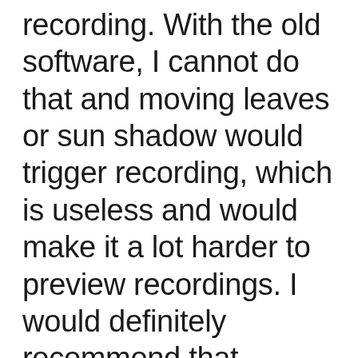recording. With the old software, I cannot do that and moving leaves or sun shadow would trigger recording, which is useless and would make it a lot harder to preview recordings. I would definitely recommend that software for its features, ease of use and affordability, it is